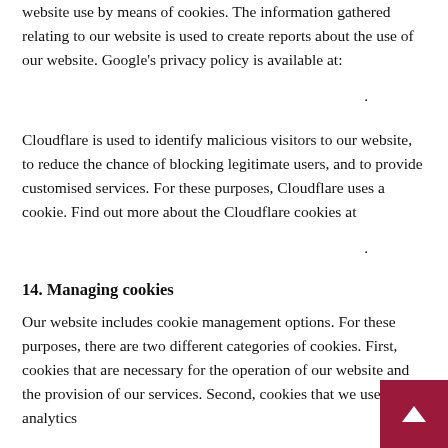website use by means of cookies. The information gathered relating to our website is used to create reports about the use of our website. Google's privacy policy is available at:
.
Cloudflare is used to identify malicious visitors to our website, to reduce the chance of blocking legitimate users, and to provide customised services. For these purposes, Cloudflare uses a cookie. Find out more about the Cloudflare cookies at
.
14. Managing cookies
Our website includes cookie management options. For these purposes, there are two different categories of cookies. First, cookies that are necessary for the operation of our website and the provision of our services. Second, cookies that we use for analytics